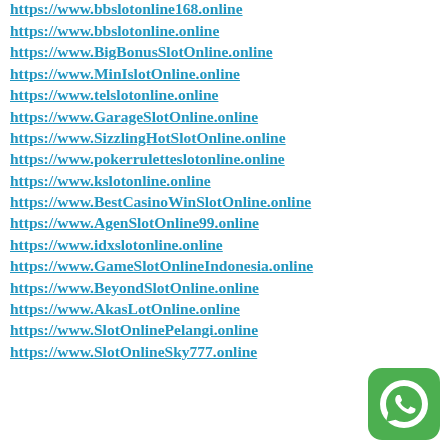https://www.bbslotonline.online
https://www.bbslotonline.online
https://www.BigBonusSlotOnline.online
https://www.MinIslotOnline.online
https://www.telslotonline.online
https://www.GarageSlotOnline.online
https://www.SizzlingHotSlotOnline.online
https://www.pokerruletteslotonline.online
https://www.kslotonline.online
https://www.BestCasinoWinSlotOnline.online
https://www.AgenSlotOnline99.online
https://www.idxslotonline.online
https://www.GameSlotOnlineIndonesia.online
https://www.BeyondSlotOnline.online
https://www.AkasLotOnline.online
https://www.SlotOnlinePelangi.online
https://www.SlotOnlineSky777.online
[Figure (logo): WhatsApp green rounded square button icon]